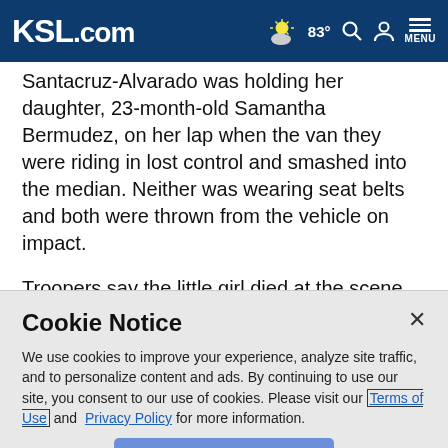KSL.com | 83° | Search | Account | Menu
Santacruz-Alvarado was holding her daughter, 23-month-old Samantha Bermudez, on her lap when the van they were riding in lost control and smashed into the median. Neither was wearing seat belts and both were thrown from the vehicle on impact.
Troopers say the little girl died at the scene. Her mother was taken to St. Mary's hospital in Colorado with critical back and neck injuries.
Cookie Notice
We use cookies to improve your experience, analyze site traffic, and to personalize content and ads. By continuing to use our site, you consent to our use of cookies. Please visit our Terms of Use and Privacy Policy for more information.
Continue